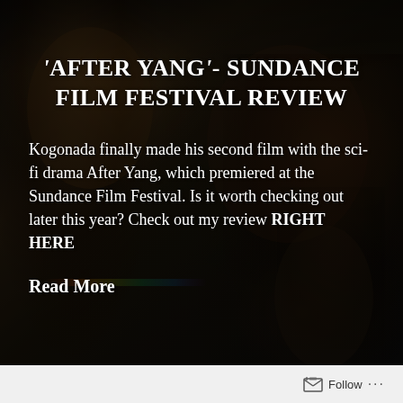[Figure (photo): Dark cinematic background image showing figures in dim lighting, likely from the film 'After Yang'. Silhouettes of people including an adult and a child visible against a dark, moody backdrop.]
'AFTER YANG'- SUNDANCE FILM FESTIVAL REVIEW
Kogonada finally made his second film with the sci-fi drama After Yang, which premiered at the Sundance Film Festival. Is it worth checking out later this year? Check out my review RIGHT HERE
Read More
Follow